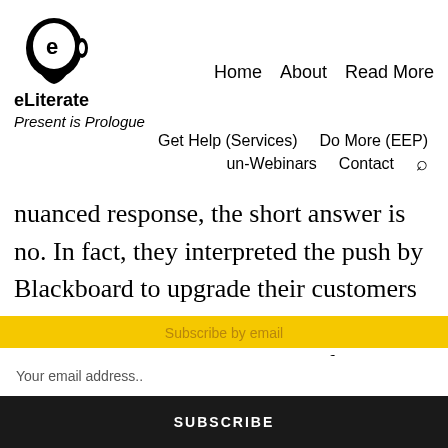[Figure (logo): eLiterate logo: circular head silhouette with an 'e' inside, black and white]
eLiterate
Home   About   Read More
Present is Prologue
Get Help (Services)   Do More (EEP)
un-Webinars   Contact
nuanced response, the short answer is no. In fact, they interpreted the push by Blackboard to upgrade their customers as a net positive for Canvas as this would present an opportunity for
Subscribe by email
Your email address..
SUBSCRIBE